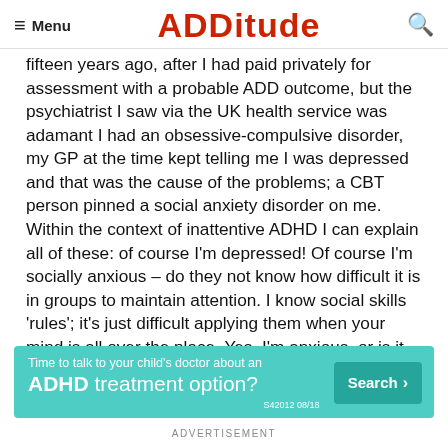Menu | ADDitude | Search
fifteen years ago, after I had paid privately for assessment with a probable ADD outcome, but the psychiatrist I saw via the UK health service was adamant I had an obsessive-compulsive disorder, my GP at the time kept telling me I was depressed and that was the cause of the problems; a CBT person pinned a social anxiety disorder on me. Within the context of inattentive ADHD I can explain all of these: of course I'm depressed! Of course I'm socially anxious – do they not know how difficult it is in groups to maintain attention. I know social skills 'rules'; it's just difficult applying them when your mind is all over the place. Yes, I'm anxious, or is it actually the churning of my engine running? As for OCD, yes, I
[Figure (other): Advertisement banner: teal background. Text: 'Time to talk to your child's doctor about an ADHD treatment option?' with a 'Search ›' button. Reference code S42012 08/18]
ADVERTISEMENT